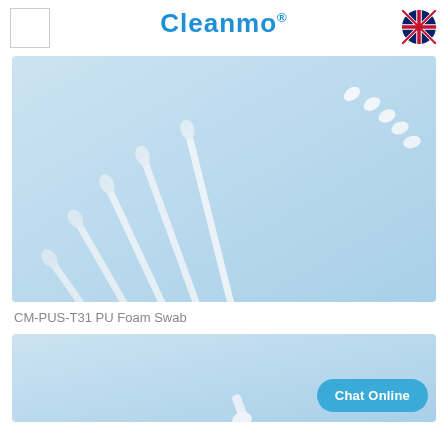[Figure (logo): Cleanmo brand logo with registered trademark symbol in blue text, and a small white square box placeholder on the left, and UK flag icon on the right]
[Figure (photo): Product photo of CM-PUS-T31 PU Foam Swabs — several long thin foam-tipped swabs arranged diagonally on a light blue background]
CM-PUS-T31 PU Foam Swab
[Figure (photo): Partial product photo on light blue background showing the tip of a foam swab, with a Chat Online button overlay]
Chat Online